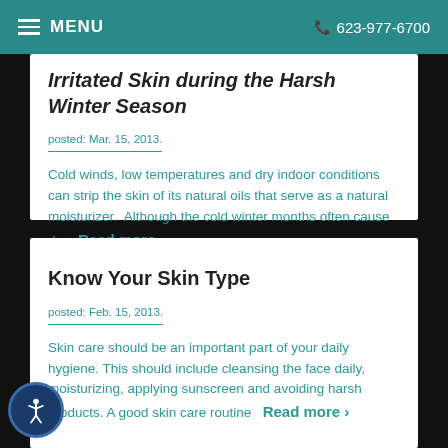MENU | 623-977-6700
Irritated Skin during the Harsh Winter Season
posted: Mar. 15, 2013.
Cold winds, low temperatures and dry indoor conditions can strip the skin of its natural oils that serve as a natural moisturizer.  Although the cold winter months often cause dry   Read more >
Know Your Skin Type
posted: Feb. 15, 2013.
Skin care should be an important part of your daily hygiene. This should include cleansing the face daily, moisturizing, applying sunscreen and avoiding harsh products. A good skin care routine   Read more >